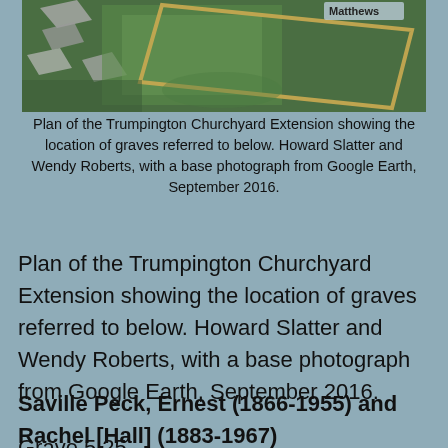[Figure (photo): Aerial/satellite view of Trumpington Churchyard Extension with a rectangular plot outlined, showing green grass and rooftops. Label 'Matthews' visible in top right corner.]
Plan of the Trumpington Churchyard Extension showing the location of graves referred to below. Howard Slatter and Wendy Roberts, with a base photograph from Google Earth, September 2016.
Plan of the Trumpington Churchyard Extension showing the location of graves referred to below. Howard Slatter and Wendy Roberts, with a base photograph from Google Earth, September 2016.
Saville Peck, Ernest (1866-1955) and Rachel [Hall] (1883-1967)
Grave 5.25